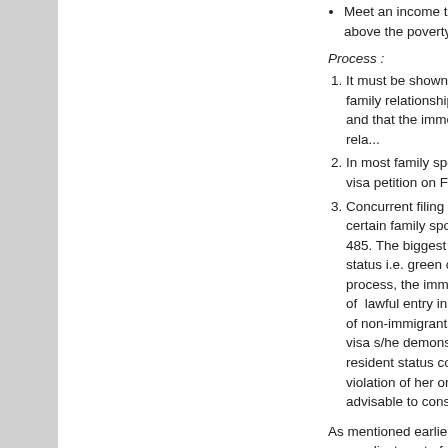Meet an income threshold above the poverty line.
Process :
1. It must be shown that the family relationship exists and that the immediate rela...
2. In most family sponsored visa petition on Form I-...
3. Concurrent filing of the certain family sponsored 485. The biggest adva... status i.e. green card v... process, the immediate... of lawful entry in to the... of non-immigrant inten... visa s/he demonstrate... resident status could b... a violation of her or his... advisable to consult an...
As mentioned earlier, the turn... an adjustment of status is rela... article. So, if you have been t... great time to take advantage...